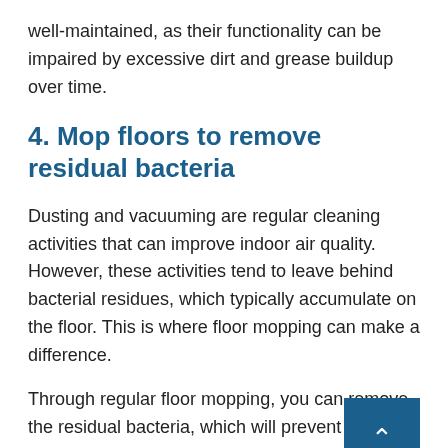well-maintained, as their functionality can be impaired by excessive dirt and grease buildup over time.
4. Mop floors to remove residual bacteria
Dusting and vacuuming are regular cleaning activities that can improve indoor air quality. However, these activities tend to leave behind bacterial residues, which typically accumulate on the floor. This is where floor mopping can make a difference.
Through regular floor mopping, you can remove the residual bacteria, which will prevent your staff from breathing them